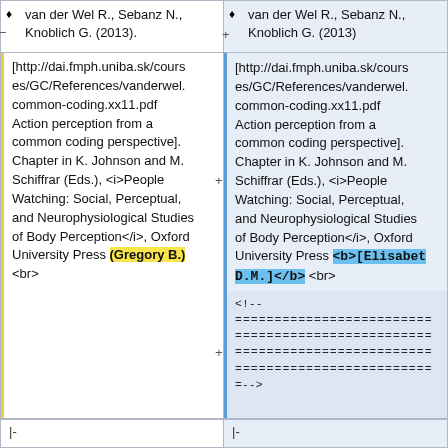♦ van der Wel R., Sebanz N., Knoblich G. (2013).
♦ van der Wel R., Sebanz N., Knoblich G. (2013)
[http://dai.fmph.uniba.sk/courses/GC/References/vanderwel.common-coding.xx11.pdf Action perception from a common coding perspective]. Chapter in K. Johnson and M. Schiffrar (Eds.), <i>People Watching: Social, Perceptual, and Neurophysiological Studies of Body Perception</i>, Oxford University Press (Gregory B.) <br>
[http://dai.fmph.uniba.sk/courses/GC/References/vanderwel.common-coding.xx11.pdf Action perception from a common coding perspective]. Chapter in K. Johnson and M. Schiffrar (Eds.), <i>People Watching: Social, Perceptual, and Neurophysiological Studies of Body Perception</i>, Oxford University Press <b>[Elisabet D.M.]</b> <br>
<!-- ========================= ========================= ========================= ========================= =-->
|-
|-